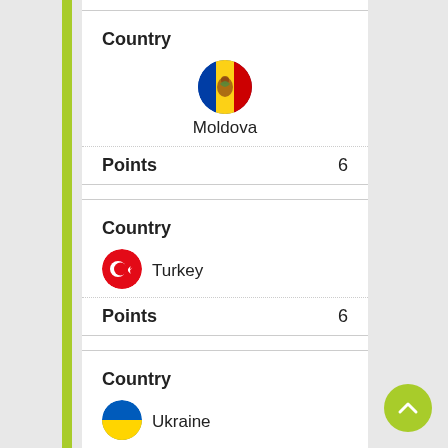Country
Moldova
Points 6
Country
Turkey
Points 6
Country
Ukraine
Points 6